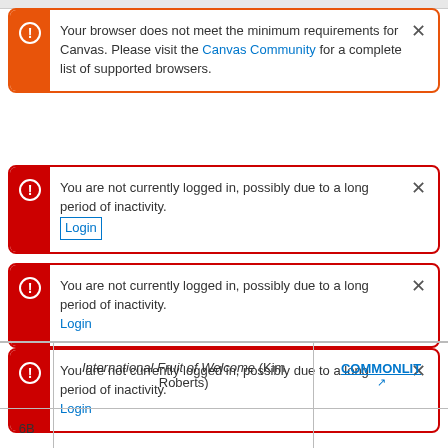[Figure (screenshot): Orange alert box: 'Your browser does not meet the minimum requirements for Canvas. Please visit the Canvas Community for a complete list of supported browsers.' with close X button.]
[Figure (screenshot): Red alert box: 'You are not currently logged in, possibly due to a long period of inactivity.' with Login link (bordered) and close X button.]
[Figure (screenshot): Red alert box: 'You are not currently logged in, possibly due to a long period of inactivity.' with Login link and close X button.]
[Figure (screenshot): Red alert box: 'You are not currently logged in, possibly due to a long period of inactivity.' with Login link and close X button.]
|  |  |  |
| --- | --- | --- |
| 6B | International Fruit of Welcome (Kim Roberts) | COMMONLIT ↗ |